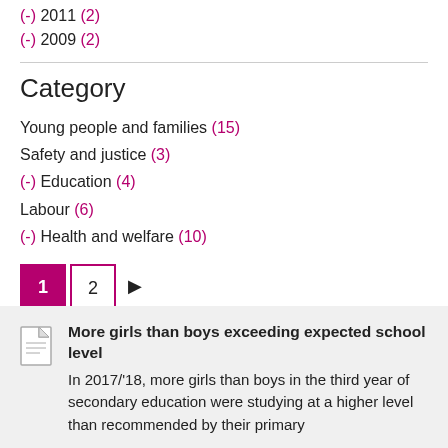(-) 2011 (2)
(-) 2009 (2)
Category
Young people and families (15)
Safety and justice (3)
(-) Education (4)
Labour (6)
(-) Health and welfare (10)
1 2 ▶
More girls than boys exceeding expected school level
In 2017/'18, more girls than boys in the third year of secondary education were studying at a higher level than recommended by their primary